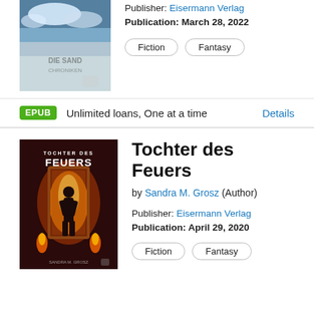[Figure (illustration): Book cover for a fantasy novel (Sand/Chroniken) with blue sky clouds background]
Publisher: Eisermann Verlag
Publication: March 28, 2022
Fiction
Fantasy
EPUB  Unlimited loans, One at a time  Details
[Figure (illustration): Book cover for Tochter des Feuers by Sandra M. Grosz, showing a woman in dark clothing in front of a bright doorway with fire, fantasy style]
Tochter des Feuers
by Sandra M. Grosz (Author)
Publisher: Eisermann Verlag
Publication: April 29, 2020
Fiction
Fantasy